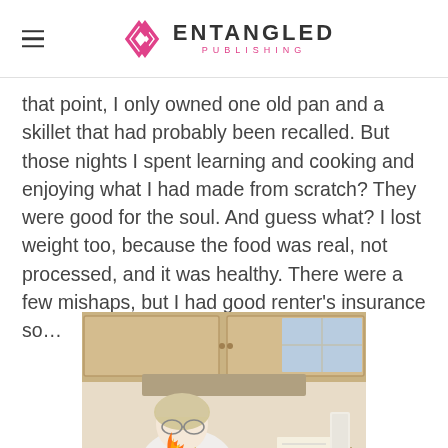Entangled Publishing
that point, I only owned one old pan and a skillet that had probably been recalled. But those nights I spent learning and cooking and enjoying what I had made from scratch? They were good for the soul. And guess what? I lost weight too, because the food was real, not processed, and it was healthy. There were a few mishaps, but I had good renter's insurance so...
[Figure (photo): An elderly woman in a white sweater cooking at a kitchen stove with flames visible, causing a fire mishap in a home kitchen setting.]